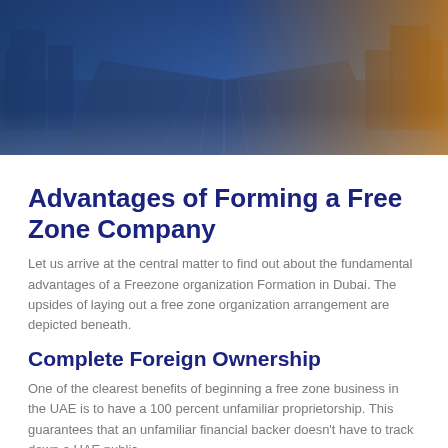[Figure (photo): Aerial view of a city with highways and tall buildings, overlaid with a gradient from blue on the left to orange on the right]
Advantages of Forming a Free Zone Company
Let us arrive at the central matter to find out about the fundamental advantages of a Freezone organization Formation in Dubai. The upsides of laying out a free zone organization arrangement are depicted beneath.
Complete Foreign Ownership
One of the clearest benefits of beginning a free zone business in the UAE is to have a 100 percent unfamiliar proprietorship. This guarantees that an unfamiliar financial backer doesn't have to track down a UAE public